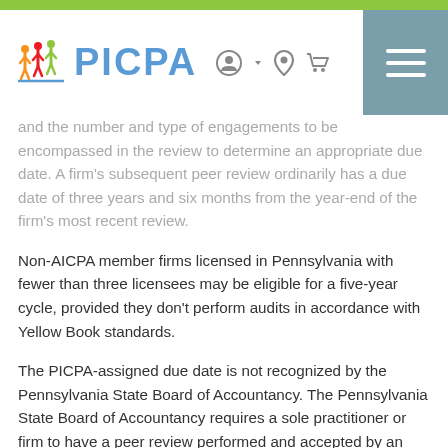PICPA
and the number and type of engagements to be encompassed in the review to determine an appropriate due date. A firm's subsequent peer review ordinarily has a due date of three years and six months from the year-end of the firm's most recent review.
Non-AICPA member firms licensed in Pennsylvania with fewer than three licensees may be eligible for a five-year cycle, provided they don't perform audits in accordance with Yellow Book standards.
The PICPA-assigned due date is not recognized by the Pennsylvania State Board of Accountancy. The Pennsylvania State Board of Accountancy requires a sole practitioner or firm to have a peer review performed and accepted by an approved administering entity (i.e., PICPA) within 18 months of when it issued